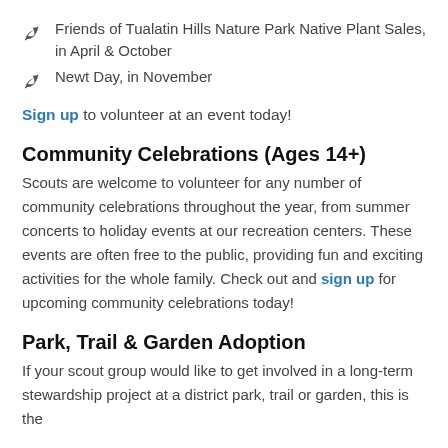Friends of Tualatin Hills Nature Park Native Plant Sales, in April & October
Newt Day, in November
Sign up to volunteer at an event today!
Community Celebrations (Ages 14+)
Scouts are welcome to volunteer for any number of community celebrations throughout the year, from summer concerts to holiday events at our recreation centers. These events are often free to the public, providing fun and exciting activities for the whole family. Check out and sign up for upcoming community celebrations today!
Park, Trail & Garden Adoption
If your scout group would like to get involved in a long-term stewardship project at a district park, trail or garden, this is the